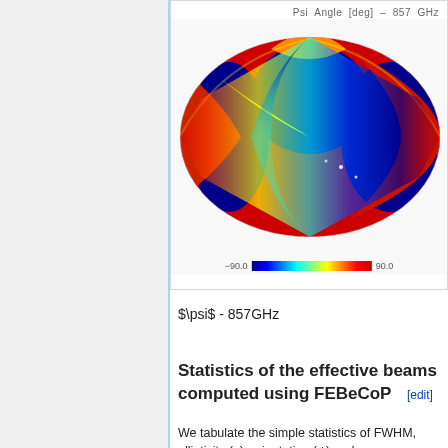[Figure (map): All-sky Mollweide projection map showing Psi Angle in degrees at 857 GHz, with a color scale from -90.0 (blue) to 90.0 (red), displayed with a rainbow colormap. The map shows the polarization angle distribution across the sky.]
$\psi$ - 857GHz
Statistics of the effective beams computed using FEBeCoP [edit]
We tabulate the simple statistics of FWHM, ellipticity (e), orientation (ψ) and